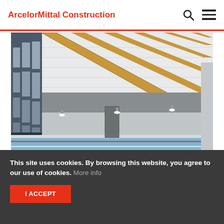ArcelorMittal Construction
[Figure (photo): Interior of an indoor swimming pool facility with white steel roof structure featuring yellow wooden beams, large windows on the left side, blue lane-divided pool, and light-colored walls. The building is the Valdepeñas Sports Complex.]
Architect : VAHOS Arquitectura / Photographer : VAHOS Arquitectura / Building : Valdepeñas Sports Complex
This site uses cookies. By browsing this website, you agree to our use of cookies. More info
I ACCEPT